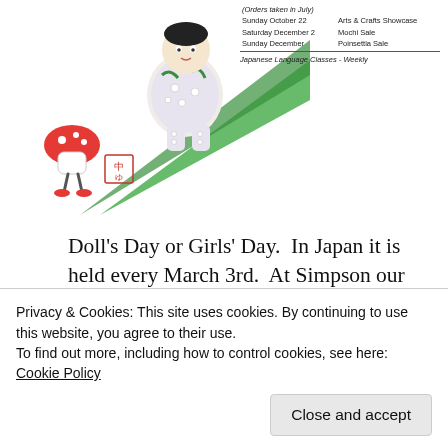[Figure (illustration): Japanese festival illustration with characters in traditional clothing, mushroom figure, and green diagonal stripe. Small Japanese stamp/seal at bottom left.]
| (Orders taken in July) |
| Sunday October 22 | Arts & Crafts Showcase |
| Saturday December 2 | Mochi Sale |
| Sunday December | Poinsettia Sale |
| Japanese Language Classes - Weekly |
Doll's Day or Girls' Day.  In Japan it is held every March 3rd.  At Simpson our Festival is held the first full weekend of every March, this year March 4th and 5th.
[Figure (screenshot): Green banner advertisement for WordPress backup plugin]
Privacy & Cookies: This site uses cookies. By continuing to use this website, you agree to their use.
To find out more, including how to control cookies, see here: Cookie Policy
Close and accept